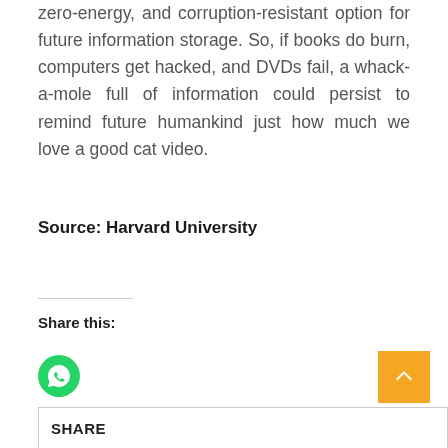zero-energy, and corruption-resistant option for future information storage. So, if books do burn, computers get hacked, and DVDs fail, a whack-a-mole full of information could persist to remind future humankind just how much we love a good cat video.
Source: Harvard University
Share this: